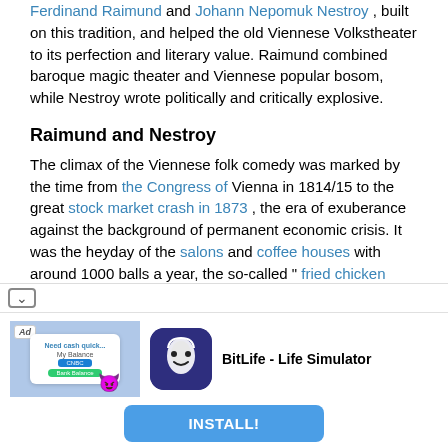Ferdinand Raimund and Johann Nepomuk Nestroy , built on this tradition, and helped the old Viennese Volkstheater to its perfection and literary value. Raimund combined baroque magic theater and Viennese popular bosom, while Nestroy wrote politically and critically explosive.
Raimund and Nestroy
The climax of the Viennese folk comedy was marked by the time from the Congress of Vienna in 1814/15 to the great stock market crash in 1873 , the era of exuberance against the background of permanent economic crisis. It was the heyday of the salons and coffee houses with around 1000 balls a year, the so-called " fried chicken time ". With 300,000 inhabitants, Vienna was the only major Austrian city and offered the Volkstheater a large audience, which, though coming from all walks of life, was very
[Figure (screenshot): Ad banner for BitLife - Life Simulator app with a collapse chevron, ad image showing app screenshot with emoji, app icon, app name, and an INSTALL! button]